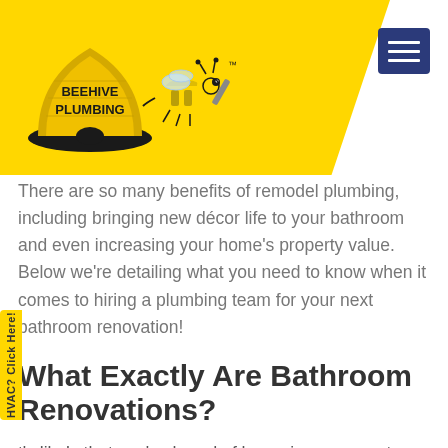[Figure (logo): Beehive Plumbing logo with yellow beehive shape and bee mascot holding a wrench, with 'BEEHIVE PLUMBING' text and TM mark]
There are so many benefits of remodel plumbing, including bringing new décor life to your bathroom and even increasing your home's property value. Below we're detailing what you need to know when it comes to hiring a plumbing team for your next bathroom renovation!
What Exactly Are Bathroom Renovations?
It's likely that you've heard of home improvement projects, but understanding the specific factors that go into bathroom renovations can often be a lot easier said than done.